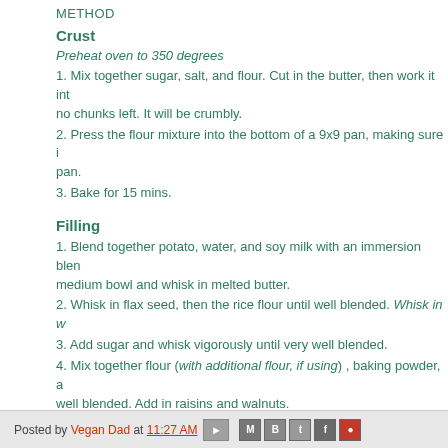METHOD
Crust
Preheat oven to 350 degrees
1. Mix together sugar, salt, and flour. Cut in the butter, then work it into no chunks left. It will be crumbly.
2. Press the flour mixture into the bottom of a 9x9 pan, making sure it covers the pan.
3. Bake for 15 mins.
Filling
1. Blend together potato, water, and soy milk with an immersion blender. Pour into medium bowl and whisk in melted butter.
2. Whisk in flax seed, then the rice flour until well blended. Whisk in w…
3. Add sugar and whisk vigorously until very well blended.
4. Mix together flour (with additional flour, if using) , baking powder, a… well blended. Add in raisins and walnuts.
5. Pour onto the baked crust an spread to cover evenly.  Bake for 20…
6. Let cool and cut into squares.
Posted by Vegan Dad at 11:27 AM